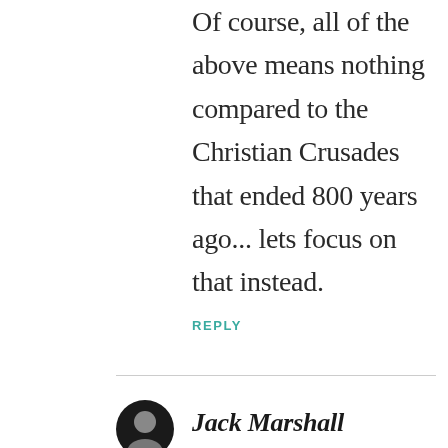Of course, all of the above means nothing compared to the Christian Crusades that ended 800 years ago... lets focus on that instead.
REPLY
[Figure (photo): Circular avatar photo of a person with a dark background, appearing to be Jack Marshall]
Jack Marshall